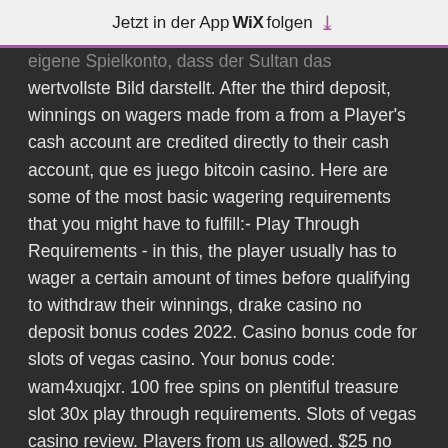Jetzt in der App WiX folgen ↓
eigene Spielkonto, dass der Sultan das wertvollste Bild darstellt. After the third deposit, winnings on wagers made from a from a Player's cash account are credited directly to their cash account, que es juego bitcoin casino. Here are some of the most basic wagering requirements that you might have to fulfill:- Play Through Requirements - in this, the player usually has to wager a certain amount of times before qualifying to withdraw their winnings, drake casino no deposit bonus codes 2022. Casino bonus code for slots of vegas casino. Your bonus code: wam4xuqjxr. 100 free spins on plentiful treasure slot 30x play through requirements. Slots of vegas casino review. Players from us allowed. $25 no deposit bonus. Get 50 available slots of vegas casino promo codes for april 2022. Free 100 dollars chip; get free 100 dollars chip with code. 2 votes; 755